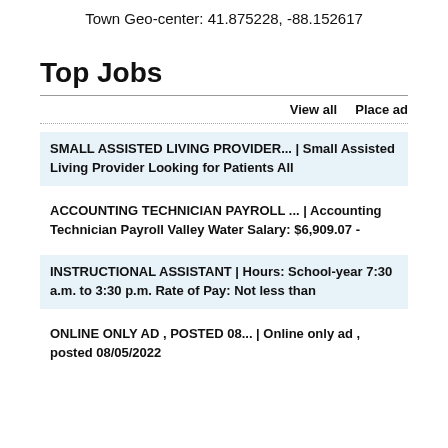Town Geo-center: 41.875228, -88.152617
Top Jobs
View all   Place ad
SMALL ASSISTED LIVING PROVIDER... | Small Assisted Living Provider Looking for Patients All
ACCOUNTING TECHNICIAN PAYROLL ... | Accounting Technician Payroll Valley Water Salary: $6,909.07 -
INSTRUCTIONAL ASSISTANT | Hours: School-year 7:30 a.m. to 3:30 p.m. Rate of Pay: Not less than
ONLINE ONLY AD , POSTED 08... | Online only ad , posted 08/05/2022